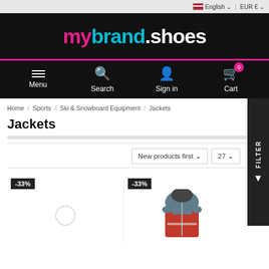English | EUR €
[Figure (logo): mybrand.shoes logo in pink, cyan, and white on black background]
Menu | Search | Sign in | Cart
Home / Sports / Ski & Snowboard Equipment / Jackets
Jackets
New products first ∨  27 ∨
[Figure (photo): Product card 1 with -33% badge, loading placeholder circle]
[Figure (photo): Product card 2 with -33% badge, red and grey ski jacket]